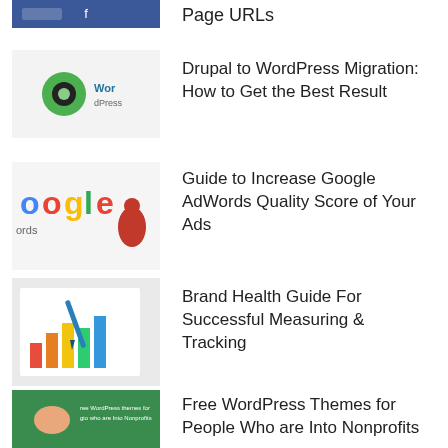[Figure (illustration): Partial blue Facebook-style thumbnail cropped at top of page]
Page URLs
[Figure (illustration): Thumbnail showing Drupal logo (green eye icon) and WordPress logo on white background]
Drupal to WordPress Migration: How to Get the Best Result
[Figure (illustration): Thumbnail showing Google AdWords logo with colorful letters and a red figure]
Guide to Increase Google AdWords Quality Score of Your Ads
[Figure (illustration): Thumbnail showing brand tracking bar chart on white paper with blue pen]
Brand Health Guide For Successful Measuring & Tracking
[Figure (illustration): Green thumbnail showing cartoon hand pointing at Free WordPress Themes for Nonprofits text]
Free WordPress Themes for People Who are Into Nonprofits
[Figure (illustration): Thumbnail showing brand tracking bar chart on white paper with blue pen]
Brand Health Guide For Successful Measuring & Tracking